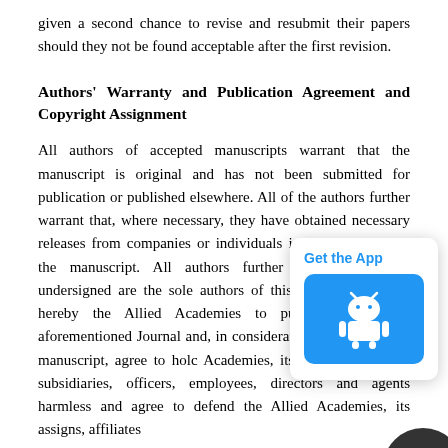given a second chance to revise and resubmit their papers should they not be found acceptable after the first revision.
Authors' Warranty and Publication Agreement and Copyright Assignment
All authors of accepted manuscripts warrant that the manuscript is original and has not been submitted for publication or published elsewhere. All of the authors further warrant that, where necessary, they have obtained necessary releases from companies or individuals involved in or with the manuscript. All authors further warrant that the undersigned are the sole authors of this work. All authors hereby the Allied Academies to publish the manus aforementioned Journal and, in considerati publication of the manuscript, agree to holc Academies, its assigns, affiliates, subsidiaries, officers, employees, directors and agents harmless and agree to defend the Allied Academies, its assigns, affiliates
[Figure (screenshot): A mobile app popup overlay with 'Get the App' text in blue and a blue button with an Android robot icon.]